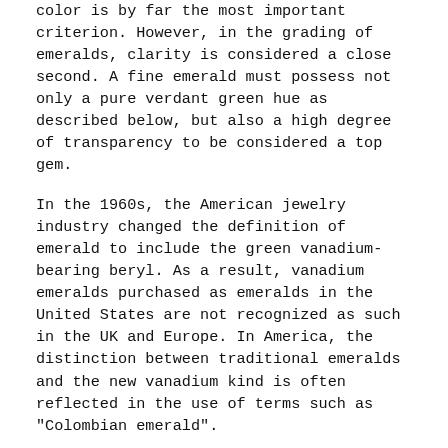color is by far the most important criterion. However, in the grading of emeralds, clarity is considered a close second. A fine emerald must possess not only a pure verdant green hue as described below, but also a high degree of transparency to be considered a top gem.
In the 1960s, the American jewelry industry changed the definition of emerald to include the green vanadium-bearing beryl. As a result, vanadium emeralds purchased as emeralds in the United States are not recognized as such in the UK and Europe. In America, the distinction between traditional emeralds and the new vanadium kind is often reflected in the use of terms such as "Colombian emerald".
In this page you can download free PNG images: Emerald PNG images free download, green emerald PNG
Keywords: Emerald PNG, Emerald PNG images, PNG image: Emerald PNG, free PNG image, Emerald